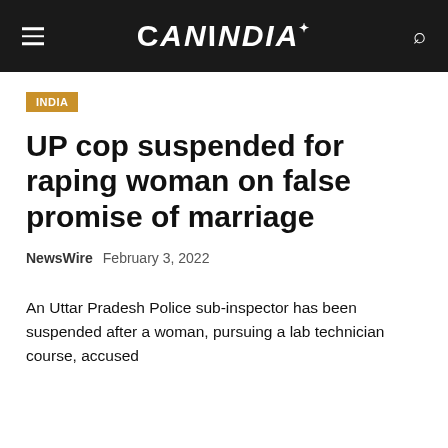CANINDIA
INDIA
UP cop suspended for raping woman on false promise of marriage
NewsWire   February 3, 2022
An Uttar Pradesh Police sub-inspector has been suspended after a woman, pursuing a lab technician course, accused